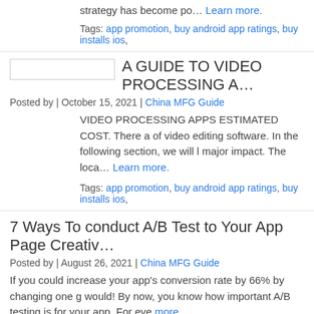strategy has become po… Learn more.
Tags: app promotion, buy android app ratings, buy installs ios,
A GUIDE TO VIDEO PROCESSING A…
Posted by | October 15, 2021 | China MFG Guide
VIDEO PROCESSING APPS ESTIMATED COST. There a of video editing software. In the following section, we will l major impact. The loca… Learn more.
Tags: app promotion, buy android app ratings, buy installs ios,
7 Ways To conduct A/B Test to Your App Page Creativ…
Posted by | August 26, 2021 | China MFG Guide
If you could increase your app's conversion rate by 66% by changing one g would! By now, you know how important A/B testing is for your app. For eve more.
Tags: android app ranking, android app ratings, app growth, app marketing, app p ratings ios, keywordinstalls